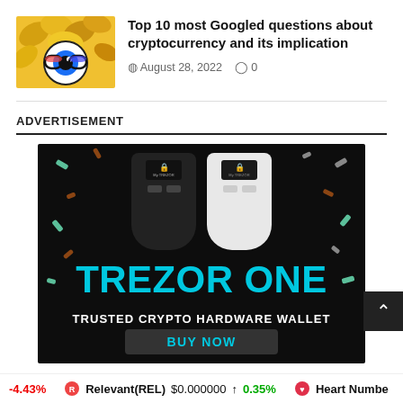[Figure (illustration): Article thumbnail showing crypto-related illustration with golden leaves and an eye-like character]
Top 10 most Googled questions about cryptocurrency and its implication
August 28, 2022  0
ADVERTISEMENT
[Figure (photo): Trezor One advertisement banner showing two hardware wallets (black and white) on dark background with colorful confetti, text: TREZOR ONE, TRUSTED CRYPTO HARDWARE WALLET, BUY NOW button]
-4.43%  Relevant(REL)  $0.000000  0.35%  Heart Numbe